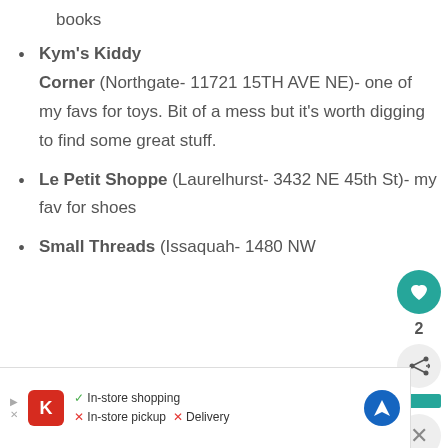books
Kym's Kiddy Corner (Northgate- 11721 15TH AVE NE)- one of my favs for toys. Bit of a mess but it's worth digging to find some great stuff.
Le Petit Shoppe (Laurelhurst- 3432 NE 45th St)- my fav for shoes
Small Threads (Issaquah- 1480 NW